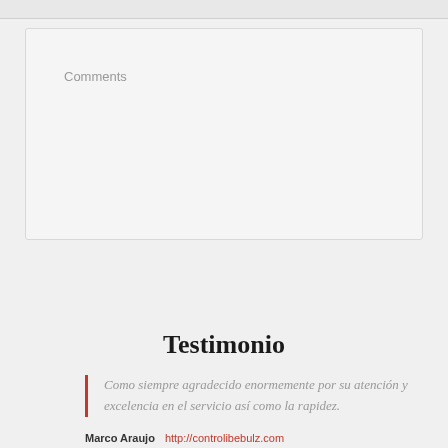Comments
Send the message »
Testimonio
Como siempre agradecido enormemente por su atención y excelencia en el servicio así como la rapidez.
Marco Araujo    http://controlibebulz.com